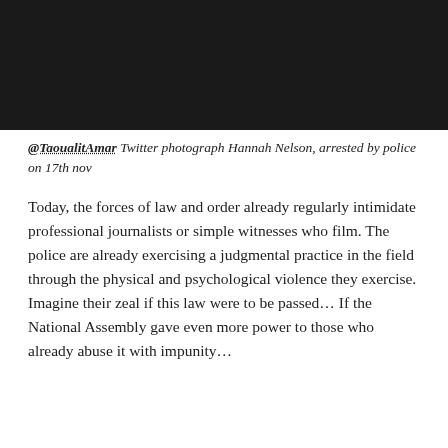[Figure (photo): Dark/black photograph, content not visible]
@TaoualitAmar Twitter photograph Hannah Nelson, arrested by police on 17th nov
Today, the forces of law and order already regularly intimidate professional journalists or simple witnesses who film. The police are already exercising a judgmental practice in the field through the physical and psychological violence they exercise. Imagine their zeal if this law were to be passed... If the National Assembly gave even more power to those who already abuse it with impunity...